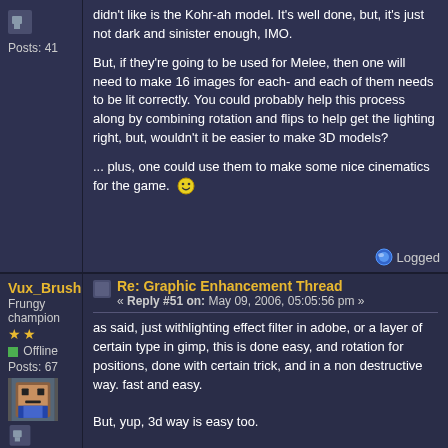Posts: 41
didn't like is the Kohr-ah model.  It's well done, but, it's just not dark and sinister enough, IMO.

But, if they're going to be used for Melee, then one will need to make 16 images for each- and each of them needs to be lit correctly.  You could probably help this process along by combining rotation and flips to help get the lighting right, but, wouldn't it be easier to make 3D models?

... plus, one could use them to make some nice cinematics for the game.
Logged
Vux_Brush
Frungy champion
Offline
Posts: 67
Re: Graphic Enhancement Thread
« Reply #51 on: May 09, 2006, 05:05:56 pm »
as said, just withlighting effect filter in adobe, or a layer of certain type in gimp, this is done easy, and rotation for positions, done with certain trick, and in a non destructive way. fast and easy.

But, yup, 3d way is easy too.

It'd be definitely a 3d task if we were talking about 60 positions or so...
if not, 16...more a preference or knowledge of the user...